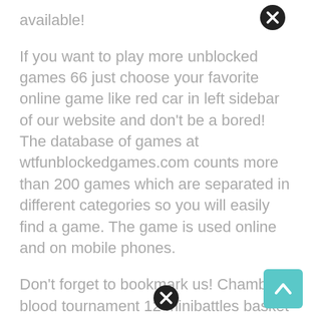available!
If you want to play more unblocked games 66 just choose your favorite online game like red car in left sidebar of our website and don't be a bored! The database of games at wtfunblockedgames.com counts more than 200 games which are separated in different categories so you will easily find a game. The game is used online and on mobile phones.
Don't forget to bookmark us! Chamber blood tournament 12 minibattles basket random ball picker 3d build and crush. We regularly add new unblocked games!
The musical friday night funkin unblocked game quickly burst into the game world and immediately became incredibly popular! Unblocked games 76 unblocked games 66